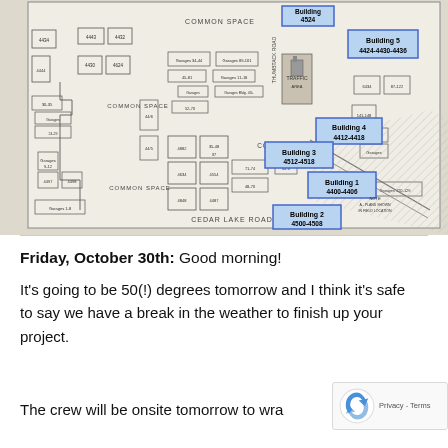[Figure (map): Site map showing building layout along Cedar Lake Road. Buildings labeled: Building 1 (4400-4406), Building 2 (4500-4508), Building 3 (4512-4518), Building 4 (4412-4418), Building 5 (4424-4430-4436), Building 4524. Map shows common spaces, garages, and other numbered units.]
Friday, October 30th: Good morning!
It’s going to be 50(!) degrees tomorrow and I think it’s safe to say we have a break in the weather to finish up your project.
The crew will be onsite tomorrow to wra...